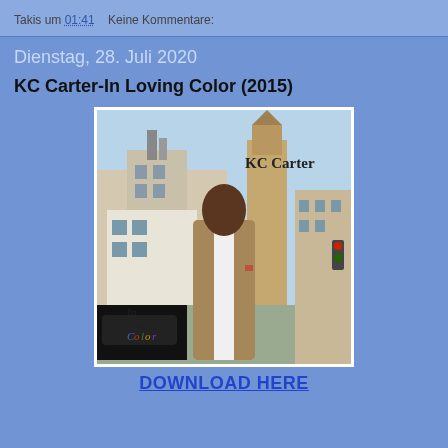Takis um 01:41   Keine Kommentare:
Dienstag, 28. Juli 2020
KC Carter-In Loving Color (2015)
[Figure (photo): Album cover for KC Carter - In Loving Color (2015). Shows a man in a plaid blazer standing on a city street with buildings in the background. Text on cover reads 'KC Carter' top right and 'In Loving Color' bottom left in colored letters.]
DOWNLOAD HERE